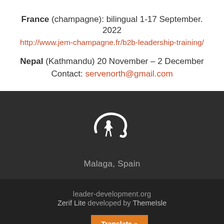France (champagne): bilingual 1-17 September. 2022
http://www.jem-champagne.fr/b2b-leadership-training/
Nepal (Kathmandu) 20 November – 2 December
Contact: servenorth@gmail.com
[Figure (logo): White circular logo with stylized figure and arc, representing an organization]
Malaga, Spain
leader-development.org
Zerif Lite developed by ThemeIsle
Translate »